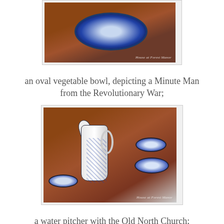[Figure (photo): Photo of a blue and white oval vegetable bowl with a Minute Man scene, placed on a wooden table with candle and flowers]
an oval vegetable bowl, depicting a Minute Man from the Revolutionary War;
[Figure (photo): Photo of a blue and white water pitcher with Old North Church design, alongside small matching bowls, on a wooden table]
a water pitcher with the Old North Church;